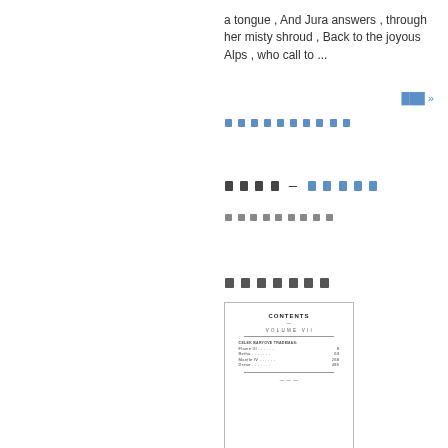a tongue , And Jura answers , through her misty shroud , Back to the joyous Alps , who call to ...
███ »
██████████
████ – █████
█████████
███████
[Figure (screenshot): Thumbnail image of a book contents page titled CONTENTS, VOLUME VII, with chapter listings]